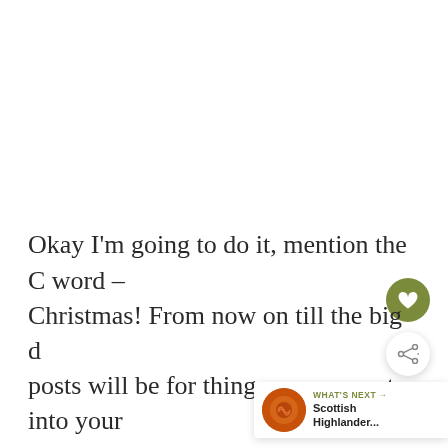[Figure (other): White blank space (image placeholder) occupying upper portion of the page]
Okay I'm going to do it, mention the C word – Christmas! From now on till the big d… posts will be for things you can put into your